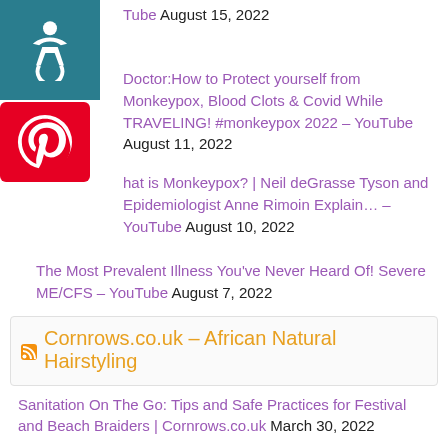Tube August 15, 2022
Doctor:How to Protect yourself from Monkeypox, Blood Clots & Covid While TRAVELING! #monkeypox 2022 – YouTube August 11, 2022
hat is Monkeypox? | Neil deGrasse Tyson and Epidemiologist Anne Rimoin Explain… – YouTube August 10, 2022
The Most Prevalent Illness You've Never Heard Of! Severe ME/CFS – YouTube August 7, 2022
Cornrows.co.uk – African Natural Hairstyling
Sanitation On The Go: Tips and Safe Practices for Festival and Beach Braiders | Cornrows.co.uk March 30, 2022
Dealing With Local Braiding Laws March 30, 2022
Caring for African Hair Lesson 3: The Art of Parting |